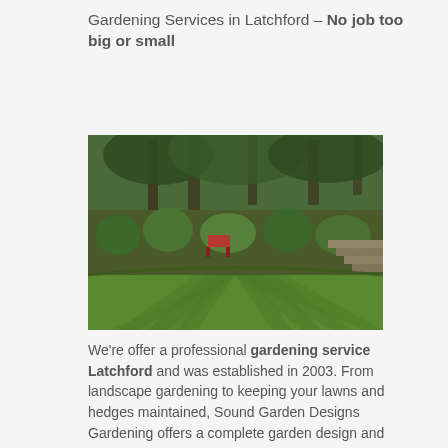Gardening Services in Latchford – No job too big or small
[Figure (photo): A well-maintained garden with striped lawn in the foreground, lush green planting borders with flowers and shrubs, trees in the background, and stone steps on the right side.]
We're offer a professional gardening service Latchford and was established in 2003. From landscape gardening to keeping your lawns and hedges maintained, Sound Garden Designs Gardening offers a complete garden design and maintenance service. We offer reliable gardening services to the North West regions.